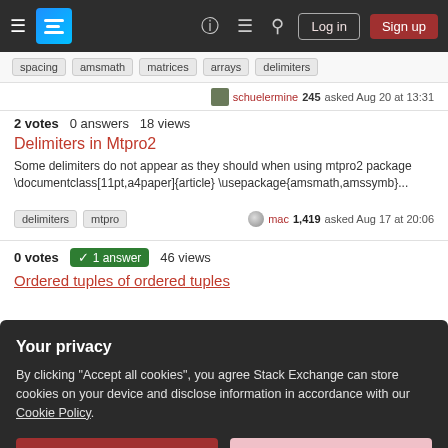Stack Exchange navigation bar with Log in and Sign up buttons
spacing  amsmath  matrices  arrays  delimiters
schuelermine 245 asked Aug 20 at 13:31
2 votes  0 answers  18 views
Delimiters in Mtpro2
Some delimiters do not appear as they should when using mtpro2 package \documentclass[11pt,a4paper]{article} \usepackage{amsmath,amssymb}...
delimiters  mtpro
mac 1,419 asked Aug 17 at 20:06
0 votes  1 answer  46 views
Ordered tuples of ordered tuples
Your privacy
By clicking "Accept all cookies", you agree Stack Exchange can store cookies on your device and disclose information in accordance with our Cookie Policy.
Accept all cookies
Customize settings
How to globally redefine kerning of \prime only when it